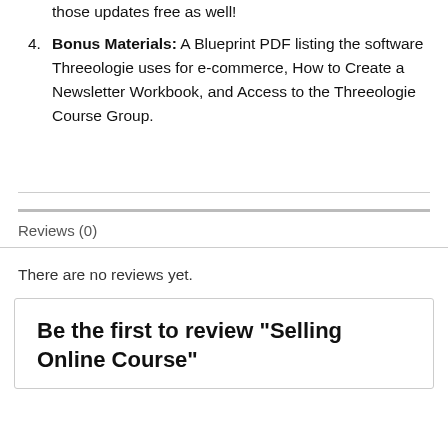those updates free as well!
Bonus Materials: A Blueprint PDF listing the software Threeologie uses for e-commerce, How to Create a Newsletter Workbook, and Access to the Threeologie Course Group.
Reviews (0)
There are no reviews yet.
Be the first to review “Selling Online Course”